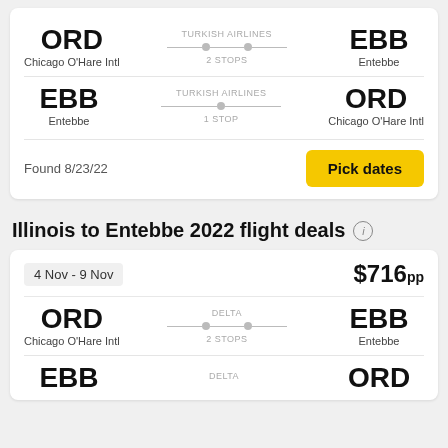ORD Chicago O'Hare Intl — TURKISH AIRLINES — 2 STOPS — EBB Entebbe
EBB Entebbe — TURKISH AIRLINES — 1 STOP — ORD Chicago O'Hare Intl
Found 8/23/22
Pick dates
Illinois to Entebbe 2022 flight deals
4 Nov - 9 Nov   $716pp
ORD Chicago O'Hare Intl — DELTA — 2 STOPS — EBB Entebbe
EBB — DELTA — ORD